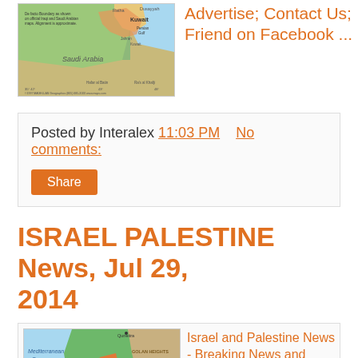[Figure (map): Map of Kuwait and Saudi Arabia region showing De facto boundary, cities including Hafar al Batin and Ra's al Khafji, copyright 1997 MAGELLAN Geographics]
Advertise; Contact Us; Friend on Facebook ...
Posted by Interalex 11:03 PM   No comments:
Share
ISRAEL PALESTINE News, Jul 29, 2014
[Figure (map): Map of Israel and Palestine showing Mediterranean Sea, Gaza Strip, West Bank, Golan Heights, cities including Tel Aviv, Jerusalem, Ramallah, Jericho, Hebron, Ashkelon, Beit Lahia, Gaza, Quneitra]
Israel and Palestine News - Breaking News and Headlines from ...www.globalpost.com/news/.../middle_east/israel-and...